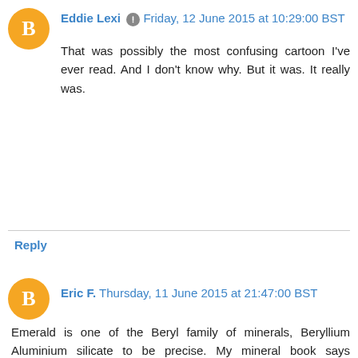Eddie Lexi  Friday, 12 June 2015 at 10:29:00 BST
That was possibly the most confusing cartoon I've ever read. And I don't know why. But it was. It really was.
Reply
Eric F.  Thursday, 11 June 2015 at 21:47:00 BST
Emerald is one of the Beryl family of minerals, Beryllium Aluminium silicate to be precise. My mineral book says "transparent gem quality beryl exhibits bright green (emerald), yellow (heliodor), blue (aquamarine) and pink (morganite) colouring". The really green emeralds have additional chromium atoms in their structure to enhance that colouration.
Apparently there are places in Northern Ireland that are famous for good quality Beryl and there is no reason that Southern Ireland doesn't have any. As you say, they just haven't been discovered yet.